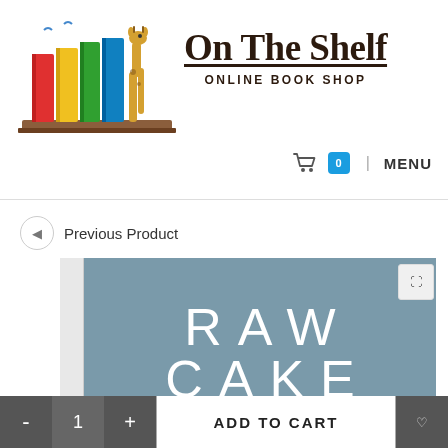[Figure (logo): On The Shelf Online Book Shop logo with colorful books and a giraffe on a shelf]
On The Shelf
ONLINE BOOK SHOP
0  MENU
Previous Product
[Figure (photo): Book cover showing 'RAW CAKE' text on a grey-blue background]
ADD TO CART